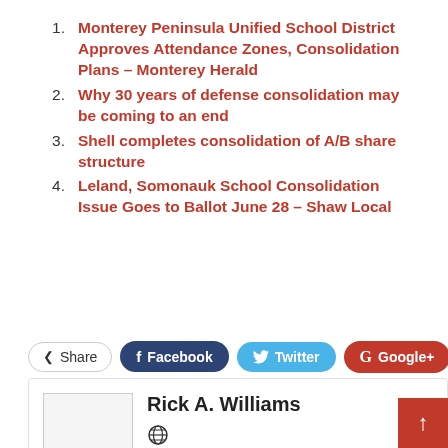Monterey Peninsula Unified School District Approves Attendance Zones, Consolidation Plans – Monterey Herald
Why 30 years of defense consolidation may be coming to an end
Shell completes consolidation of A/B share structure
Leland, Somonauk School Consolidation Issue Goes to Ballot June 28 – Shaw Local
[Figure (screenshot): Social share buttons: Share, Facebook, Twitter, Google+, and a plus button]
[Figure (screenshot): Author card with placeholder image, name Rick A. Williams, and globe icon]
Rick A. Williams